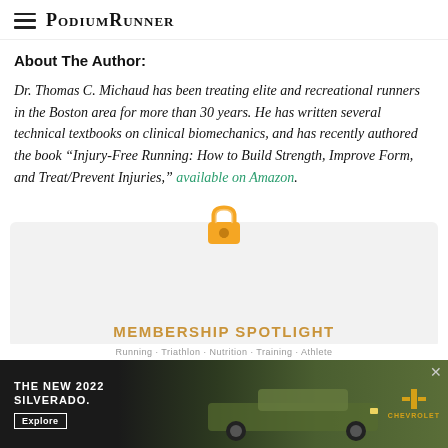PodiumRunner
About The Author:
Dr. Thomas C. Michaud has been treating elite and recreational runners in the Boston area for more than 30 years. He has written several technical textbooks on clinical biomechanics, and has recently authored the book “Injury-Free Running: How to Build Strength, Improve Form, and Treat/Prevent Injuries,” available on Amazon.
[Figure (infographic): Membership spotlight section with a lock emoji icon above a light gray card area showing the text MEMBERSHIP SPOTLIGHT in orange/gold uppercase letters]
[Figure (infographic): Advertisement banner for The New 2022 Silverado by Chevrolet, dark background with truck silhouette and Explore button]